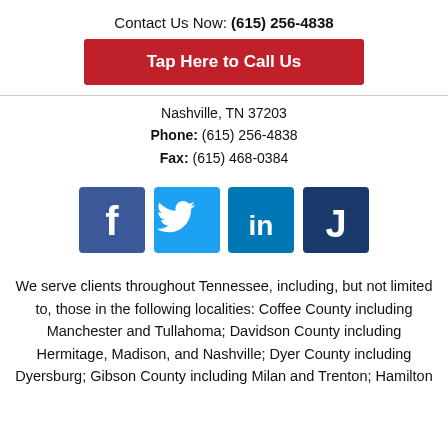Contact Us Now: (615) 256-4838
Tap Here to Call Us
Nashville, TN 37203
Phone: (615) 256-4838
Fax: (615) 468-0384
[Figure (infographic): Social media icons: Facebook, Twitter, LinkedIn, Justia]
We serve clients throughout Tennessee, including, but not limited to, those in the following localities: Coffee County including Manchester and Tullahoma; Davidson County including Hermitage, Madison, and Nashville; Dyer County including Dyersburg; Gibson County including Milan and Trenton; Hamilton